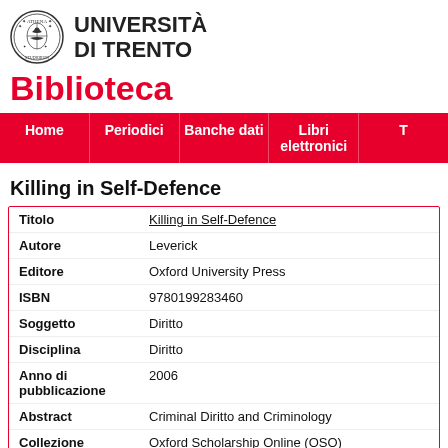[Figure (logo): Università di Trento circular seal/crest logo in black and white]
UNIVERSITÀ DI TRENTO
Biblioteca
Home | Periodici | Banche dati | Libri elettronici | T
Killing in Self-Defence
| Field | Value |
| --- | --- |
| Titolo | Killing in Self-Defence |
| Autore | Leverick |
| Editore | Oxford University Press |
| ISBN | 9780199283460 |
| Soggetto | Diritto |
| Disciplina | Diritto |
| Anno di pubblicazione | 2006 |
| Abstract | Criminal Diritto and Criminology |
| Collezione | Oxford Scholarship Online (OSO) |
| Homepage | http://www.oxfordonline.com... |